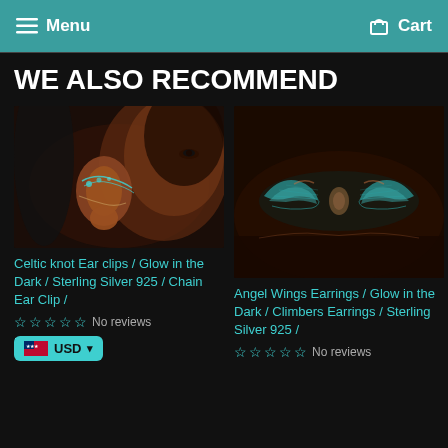Menu  Cart
WE ALSO RECOMMEND
[Figure (photo): Photo of a woman's ear wearing Celtic knot ear clips with chain, glow in the dark jewelry, dark background]
[Figure (photo): Photo of Angel Wings Earrings glowing in the dark against a dark background]
Celtic knot Ear clips / Glow in the Dark / Sterling Silver 925 / Chain Ear Clip /
Angel Wings Earrings / Glow in the Dark / Climbers Earrings / Sterling Silver 925 /
☆☆☆☆☆ No reviews
☆☆☆☆☆ No reviews
USD